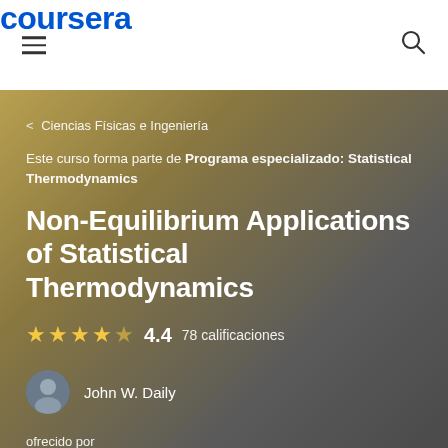coursera
< Ciencias Físicas e Ingeniería
Este curso forma parte de Programa especializado: Statistical Thermodynamics
Non-Equilibrium Applications of Statistical Thermodynamics
4.4  78 calificaciones
John W. Daily
ofrecido por
[Figure (logo): University of Colorado Boulder logo]